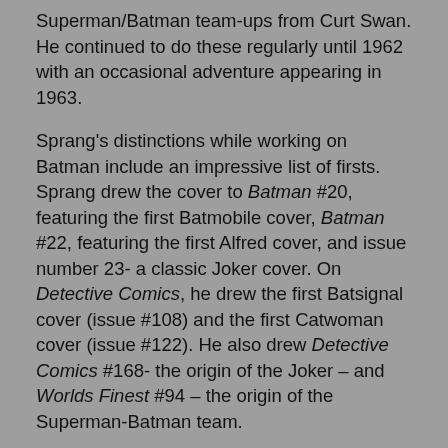Superman/Batman team-ups from Curt Swan. He continued to do these regularly until 1962 with an occasional adventure appearing in 1963.
Sprang's distinctions while working on Batman include an impressive list of firsts. Sprang drew the cover to Batman #20, featuring the first Batmobile cover, Batman #22, featuring the first Alfred cover, and issue number 23- a classic Joker cover. On Detective Comics, he drew the first Batsignal cover (issue #108) and the first Catwoman cover (issue #122). He also drew Detective Comics #168- the origin of the Joker – and Worlds Finest #94 – the origin of the Superman-Batman team.
Like all Batman artists during the Golden Age and Silver Age, Sprang's name was uncredited in the books. But he was the best of the Bob Kane imitators and, indeed, he was better by far than Kane himself. His backgrounds were detailed, his figures clean and his layouts dynamic.